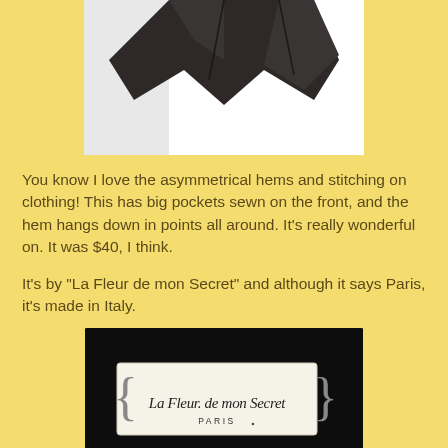[Figure (photo): Partial photo of a dark/black asymmetrical skirt garment against a white background, showing the hem]
You know I love the asymmetrical hems and stitching on clothing! This has big pockets sewn on the front, and the hem hangs down in points all around. It's really wonderful on. It was $40, I think.
It's by "La Fleur de mon Secret" and although it says Paris, it's made in Italy.
[Figure (photo): Photo of a clothing label reading 'La Fleur de mon Secret PARIS' on a white tag against black fabric]
I'm going to try to get this skirt into my January wardrobe.